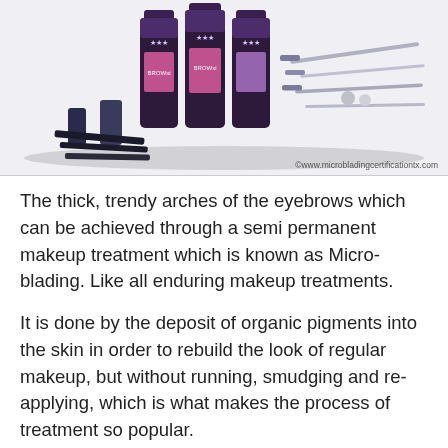[Figure (photo): Product image showing microblading kit with bottles/containers labeled with stars and various microblading tools including blades and instruments, with watermark 'www.microbladingcertificationtx.com' at bottom right]
The thick, trendy arches of the eyebrows which can be achieved through a semi permanent makeup treatment which is known as Micro-blading. Like all enduring makeup treatments.
It is done by the deposit of organic pigments into the skin in order to rebuild the look of regular makeup, but without running, smudging and re-applying, which is what makes the process of treatment so popular.